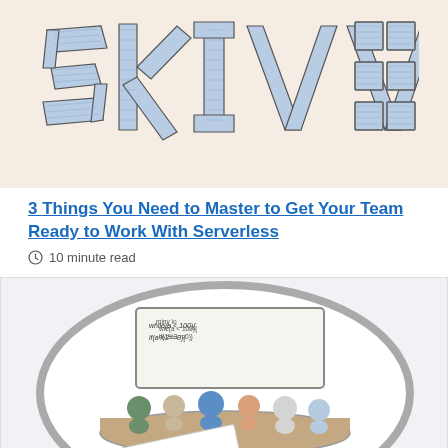[Figure (logo): Stylized 'SKILLS' text logo made of geometric blue hand-drawn letter shapes on a warm beige background]
3 Things You Need to Master to Get Your Team Ready to Work With Serverless
10 minute read
[Figure (illustration): Illustration showing a mob programming session inside a magnifying glass lens. A group of cartoon figures sits around a curved desk facing a whiteboard with code. A paper in front reads 'MOB PROGRAM...' Text on whiteboard shows 'while(a < 100){ if(a%3==0){'. The background is white.]